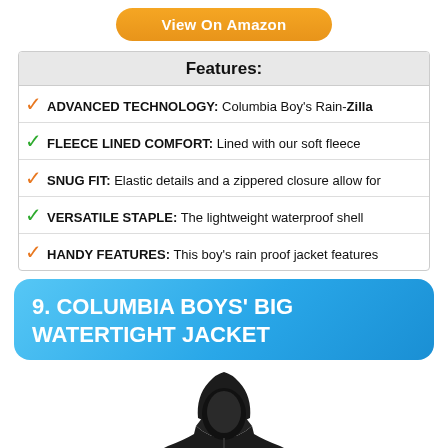[Figure (other): Orange rounded button labeled 'View On Amazon']
| Features: |
| --- |
| ADVANCED TECHNOLOGY: Columbia Boy's Rain-Zilla |
| FLEECE LINED COMFORT: Lined with our soft fleece |
| SNUG FIT: Elastic details and a zippered closure allow for |
| VERSATILE STAPLE: The lightweight waterproof shell |
| HANDY FEATURES: This boy's rain proof jacket features |
9. COLUMBIA BOYS' BIG WATERTIGHT JACKET
[Figure (photo): Black Columbia boys' rain jacket with hood]